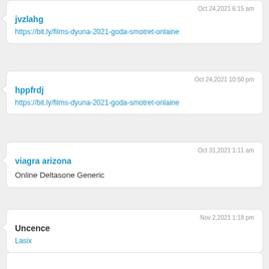Oct 24,2021 6:15 am
jvzlahg
https://bit.ly/films-dyuna-2021-goda-smotret-onlaine
Oct 24,2021 10:50 pm
hppfrdj
https://bit.ly/films-dyuna-2021-goda-smotret-onlaine
Oct 31,2021 1:11 am
viagra arizona
Online Deltasone Generic
Nov 2,2021 1:18 pm
Uncence
Lasix